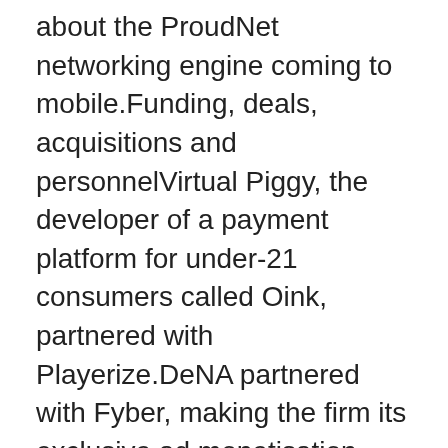about the ProudNet networking engine coming to mobile.Funding, deals, acquisitions and personnelVirtual Piggy, the developer of a payment platform for under-21 consumers called Oink, partnered with Playerize.DeNA partnered with Fyber, making the firm its exclusive ad monetisation partner in the US.<p>Popular emulator GBA4iOS returned last week and should now work with iOS 9.2 and below without having to jailbreak your phone.</p><p>What this means is that you can grab GBA4iOS and use it to play Game Boy games (and romhacks) on your phone once again. Pretty nifty.</p><p>However, as always with GBA4iOS, this won't last forever as Apple release constant updates that render the emulator useless.</p><p>That said, creator Riley Testut is always working